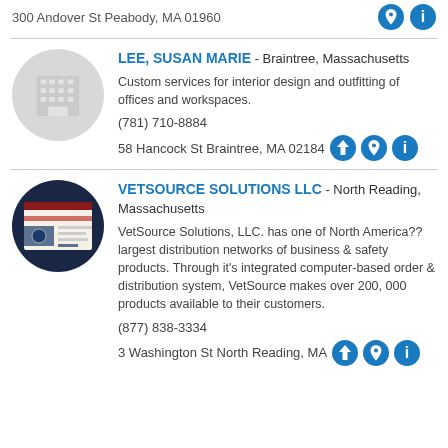300 Andover St Peabody, MA 01960
LEE, SUSAN MARIE - Braintree, Massachusetts
Custom services for interior design and outfitting of offices and workspaces.
(781) 710-8884
58 Hancock St Braintree, MA 02184
VETSOURCE SOLUTIONS LLC - North Reading, Massachusetts
VetSource Solutions, LLC. has one of North America?? largest distribution networks of business & safety products. Through it's integrated computer-based order & distribution system, VetSource makes over 200, 000 products available to their customers.
(877) 838-3334
3 Washington St North Reading, MA